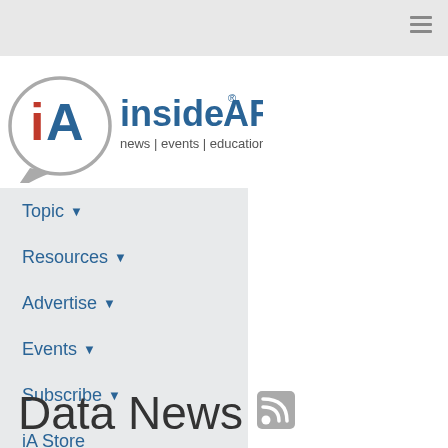[Figure (logo): insideARM logo with tagline: news | events | education | connection]
Topic ▼
Resources ▼
Advertise ▼
Events ▼
Subscribe ▼
iA Store
Jobs
Data News